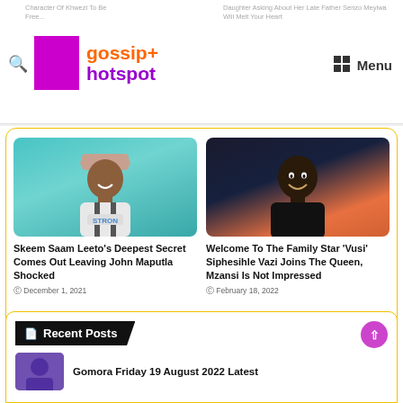gossip+ hotspot
Skeem Saam Leeto's Deepest Secret Comes Out Leaving John Maputla Shocked — December 1, 2021
Welcome To The Family Star 'Vusi' Siphesihle Vazi Joins The Queen, Mzansi Is Not Impressed — February 18, 2022
Recent Posts
Gomora Friday 19 August 2022 Latest